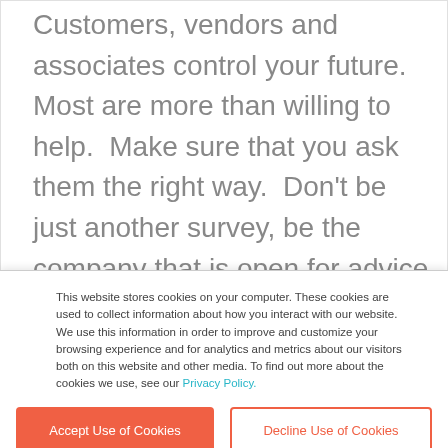Customers, vendors and associates control your future.  Most are more than willing to help.  Make sure that you ask them the right way.  Don't be just another survey, be the company that is open for advice to help improve the way they do business.
This website stores cookies on your computer. These cookies are used to collect information about how you interact with our website. We use this information in order to improve and customize your browsing experience and for analytics and metrics about our visitors both on this website and other media. To find out more about the cookies we use, see our Privacy Policy.
Accept Use of Cookies
Decline Use of Cookies